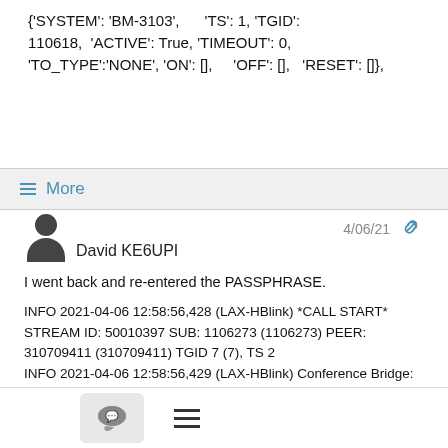{'SYSTEM': 'BM-3103', 'TS': 1, 'TGID': 110618, 'ACTIVE': True, 'TIMEOUT': 0, 'TO_TYPE':'NONE', 'ON': [], 'OFF': [], 'RESET': []},
≡ More
David KE6UPI  4/06/21
I went back and re-entered the PASSPHRASE.
INFO 2021-04-06 12:58:56,428 (LAX-HBlink) *CALL START* STREAM ID: 50010397 SUB: 1106273 (1106273) PEER: 310709411 (310709411) TGID 7 (7), TS 2
INFO 2021-04-06 12:58:56,429 (LAX-HBlink) Conference Bridge: Local 7, Call Bridged to OBP System: BM-3103 TS: 1, TGID: 110618
INFO 2021-04-06 12:58:58,353 (LAX-HBlink) *CALL END*